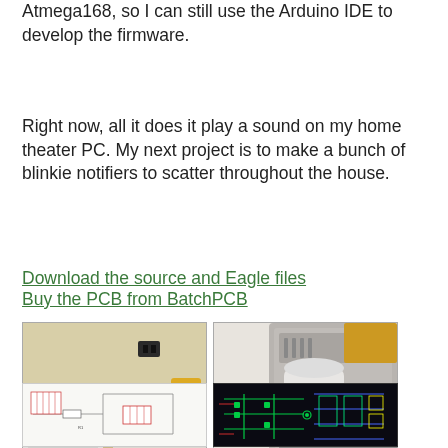Atmega168, so I can still use the Arduino IDE to develop the firmware.
Right now, all it does it play a sound on my home theater PC. My next project is to make a bunch of blinkie notifiers to scatter throughout the house.
Download the source and Eagle files
Buy the PCB from BatchPCB
[Figure (photo): Two side-by-side photos: left shows a laundry room with appliances and cleaning supplies on a shelf; right shows a close-up of what appears to be a machine or device component from above.]
[Figure (engineering-diagram): Two side-by-side images: left shows a schematic/circuit diagram on white background; right shows a PCB layout on dark background with green and colored traces and components.]